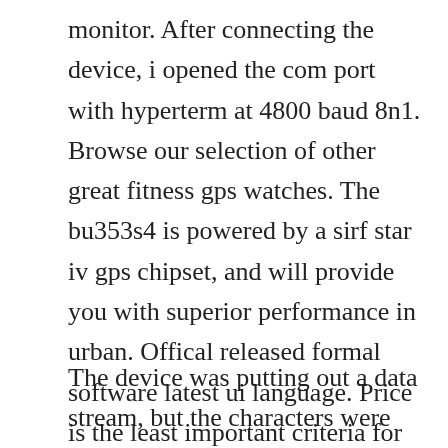monitor. After connecting the device, i opened the com port with hyperterm at 4800 baud 8n1. Browse our selection of other great fitness gps watches. The bu353s4 is powered by a sirf star iv gps chipset, and will provide you with superior performance in urban. Offical released formal software latest ui language. Price is the least important criteria for more reliability, userfriendliness and accuracy the most.
The device was putting out a data stream, but the characters were garbage. Globalsat